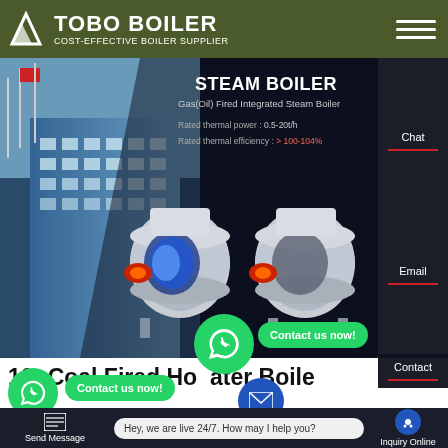TOBO BOILER — COST-EFFECTIVE BOILER SUPPLIER
[Figure (screenshot): Hero banner showing a steam boiler product page with industrial building in background, two cylindrical gas-fired steam boilers rendered in 3D, text: STEAM BOILER, Gas(Oil) Fired Integrated Steam Boiler, Rated thermal power: 0.5-20t/h, Rated thermal efficiency: > 100-104%]
STEAM BOILER
Gas(Oil) Fired Integrated Steam Boiler
Rated thermal power : 0.5-20t/h
Rated thermal efficiency : > 100-104%
Chat
Email
10t Coal Fired Hot Water Boiler
Contact us now!
Contact us now!
Contact
Send Message
Hey, we are live 24/7. How may I help you?
Inquiry Online